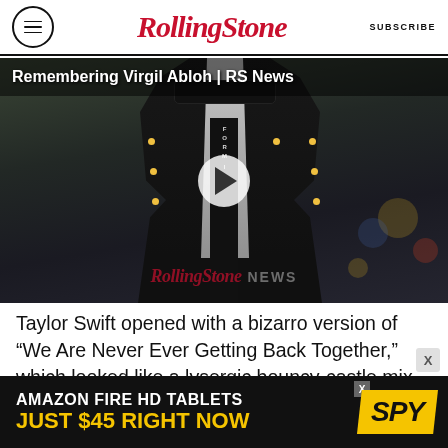RollingStone | SUBSCRIBE
[Figure (screenshot): Video thumbnail showing a man in a dark blazer with yellow dots and Off-White tie, with overlay text 'Remembering Virgil Abloh | RS News' and a play button. Rolling Stone News watermark visible at bottom of video.]
Taylor Swift opened with a bizarro version of “We Are Never Ever Getting Back Together,” which looked like a lysergic bouncy-castle mix of Bob Dylan’s Rolling Thunder Revue and vintage Panic! at the Disco videos. (Haven’t you people
[Figure (screenshot): Amazon Fire HD Tablets advertisement: 'AMAZON FIRE HD TABLETS JUST $45 RIGHT NOW' with SPY logo on yellow/black background]